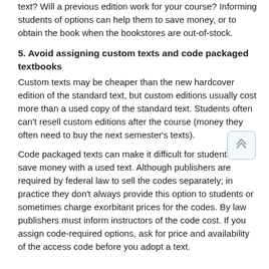text? Will a previous edition work for your course? Informing students of options can help them to save money, or to obtain the book when the bookstores are out-of-stock.
5. Avoid assigning custom texts and code packaged textbooks
Custom texts may be cheaper than the new hardcover edition of the standard text, but custom editions usually cost more than a used copy of the standard text. Students often can't resell custom editions after the course (money they often need to buy the next semester's texts).
Code packaged texts can make it difficult for students to save money with a used text. Although publishers are required by federal law to sell the codes separately; in practice they don't always provide this option to students or sometimes charge exorbitant prices for the codes. By law publishers must inform instructors of the code cost. If you assign code-required options, ask for price and availability of the access code before you adopt a text.